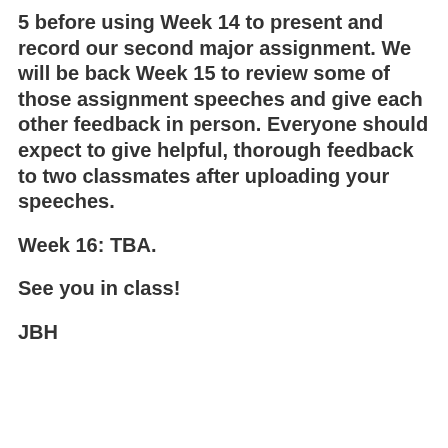5 before using Week 14 to present and record our second major assignment. We will be back Week 15 to review some of those assignment speeches and give each other feedback in person. Everyone should expect to give helpful, thorough feedback to two classmates after uploading your speeches.
Week 16: TBA.
See you in class!
JBH